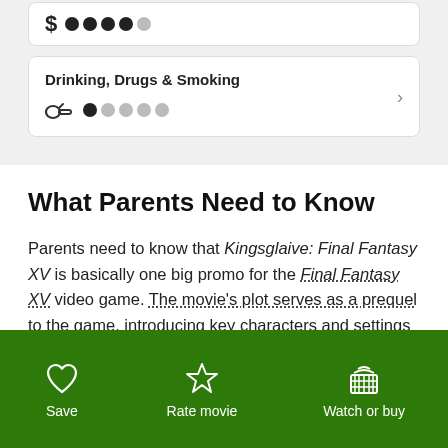[Figure (other): Dollar sign with five filled/gray dots indicating a rating scale]
Drinking, Drugs & Smoking
[Figure (other): Smoking/pipe icon with one filled dot and four gray dots rating scale, with chevron arrow]
What Parents Need to Know
Parents need to know that Kingsglaive: Final Fantasy XV is basically one big promo for the Final Fantasy XV video game. The movie's plot serves as a prequel to the game, introducing key characters and settings and leaving off right where the game begins. Even those new to the Final
Show more ∨
[Figure (other): Green bottom navigation bar with Save (heart icon), Rate movie (star icon), Watch or buy (basket icon)]